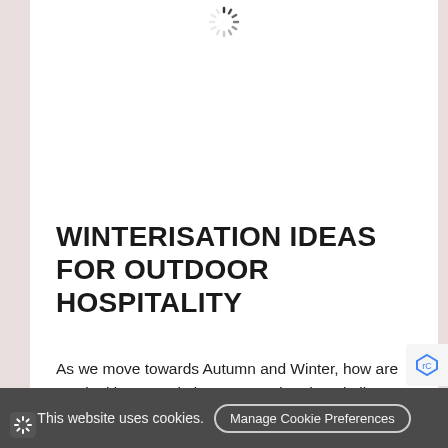[Figure (other): Loading spinner icon at top center of page]
WINTERISATION IDEAS FOR OUTDOOR HOSPITALITY
As we move towards Autumn and Winter, how are you looking to optimise your outdoor hospitality? At Woodberry, we are finding more clients are looking to ‘winterise’ their...
This website uses cookies. Manage Cookie Preferences